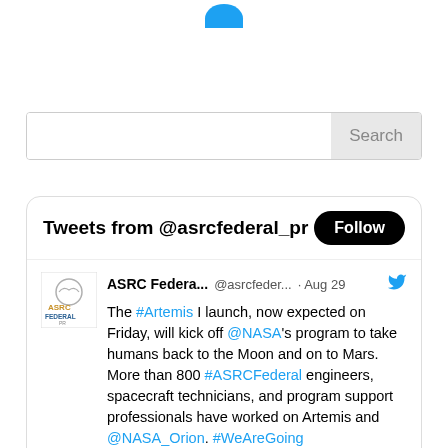[Figure (screenshot): Partial Twitter avatar circle (blue) at top of page]
[Figure (screenshot): Search box with grey Search button on right]
[Figure (screenshot): Twitter widget showing 'Tweets from @asrcfederal_pr' with Follow button and a tweet from ASRC Federal dated Aug 29 about the Artemis launch]
Tweets from @asrcfederal_pr
ASRC Federa... @asrcfeder... · Aug 29
The #Artemis I launch, now expected on Friday, will kick off @NASA's program to take humans back to the Moon and on to Mars. More than 800 #ASRCFederal engineers, spacecraft technicians, and program support professionals have worked on Artemis and @NASA_Orion. #WeAreGoing